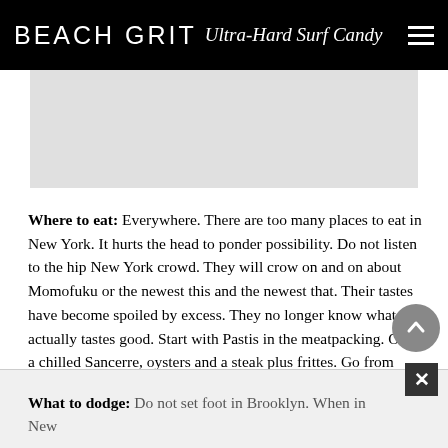BEACH GRIT Ultra-Hard Surf Candy
[Figure (other): Gray advertisement placeholder box]
Where to eat: Everywhere. There are too many places to eat in New York. It hurts the head to ponder possibility. Do not listen to the hip New York crowd. They will crow on and on about Momofuku or the newest this and the newest that. Their tastes have become spoiled by excess. They no longer know what actually tastes good. Start with Pastis in the meatpacking. Order a chilled Sancerre, oysters and a steak plus frittes. Go from there.
What to dodge: Do not set foot in Brooklyn. When in New